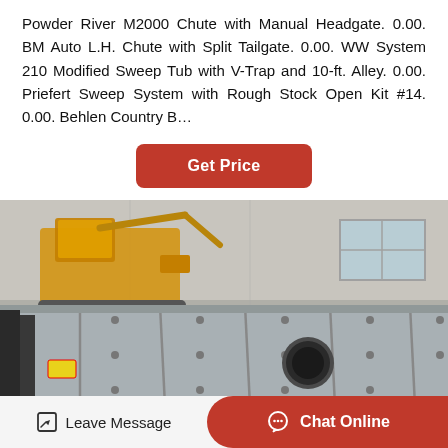Powder River M2000 Chute with Manual Headgate. 0.00. BM Auto L.H. Chute with Split Tailgate. 0.00. WW System 210 Modified Sweep Tub with V-Trap and 10-ft. Alley. 0.00. Priefert Sweep System with Rough Stock Open Kit #14. 0.00. Behlen Country B…
[Figure (other): Red 'Get Price' button with rounded corners]
[Figure (photo): Industrial machinery in a warehouse setting — large grey metal screen/panel in foreground with bolted sections and a circular port; yellow heavy equipment visible in background; metal building walls and windows in rear.]
[Figure (other): Bottom navigation bar with 'Leave Message' icon button on the left and a red 'Chat Online' button on the right]